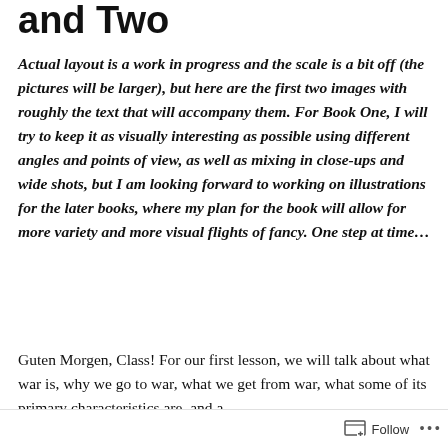and Two
Actual layout is a work in progress and the scale is a bit off (the pictures will be larger), but here are the first two images with roughly the text that will accompany them. For Book One, I will try to keep it as visually interesting as possible using different angles and points of view, as well as mixing in close-ups and wide shots, but I am looking forward to working on illustrations for the later books, where my plan for the book will allow for more variety and more visual flights of fancy. One step at time…
Guten Morgen, Class! For our first lesson, we will talk about what war is, why we go to war, what we get from war, what some of its primary characteristics are, and a
Follow